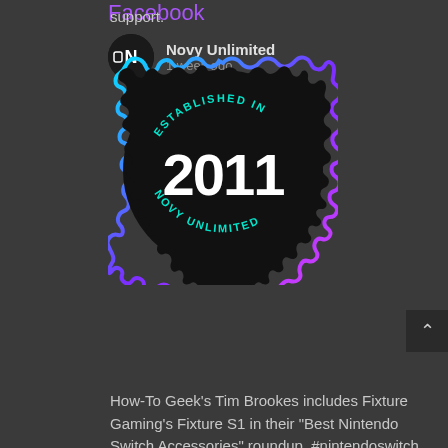support.
[Figure (logo): Circular badge/seal with dark background and cyan-to-purple gradient border. Text reads 'ESTABLISHED IN' at top arc, '2011' in large white font in center, 'NOVY UNLIMITED' at bottom arc in cyan. Badge has scalloped edges.]
Facebook
Novy Unlimited
1 week ago
How-To Geek's Tim Brookes includes Fixture Gaming's Fixture S1 in their "Best Nintendo Switch Accessories" roundup. #nintendoswitch